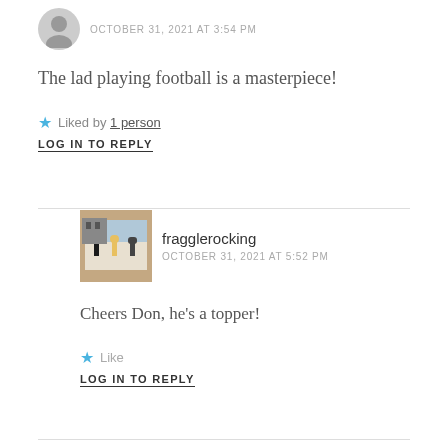OCTOBER 31, 2021 AT 3:54 PM
The lad playing football is a masterpiece!
★ Liked by 1 person
LOG IN TO REPLY
fragglerocking
OCTOBER 31, 2021 AT 5:52 PM
Cheers Don, he's a topper!
★ Like
LOG IN TO REPLY